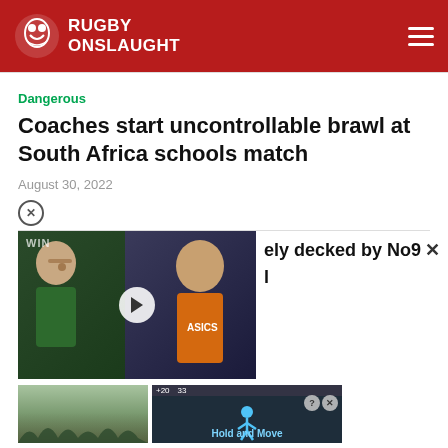RUGBY ONSLAUGHT
Dangerous
Coaches start uncontrollable brawl at South Africa schools match
August 30, 2022
[Figure (screenshot): Video thumbnail showing two rugby coaches/players, with a play button overlay. Partially obscured text reads: 'ely decked by No9']
[Figure (screenshot): Advertisement block at bottom with score bar showing '+20' and '33', person icon graphic labeled 'Hold and Move', trees in background image, with question mark and X buttons]